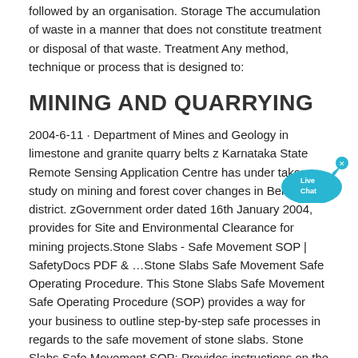followed by an organisation. Storage The accumulation of waste in a manner that does not constitute treatment or disposal of that waste. Treatment Any method, technique or process that is designed to:
MINING AND QUARRYING
2004-6-11 · Department of Mines and Geology in limestone and granite quarry belts z Karnataka State Remote Sensing Application Centre has under taken a study on mining and forest cover changes in Bellary district. zGovernment order dated 16th January 2004, provides for Site and Environmental Clearance for mining projects.Stone Slabs - Safe Movement SOP | SafetyDocs PDF & …Stone Slabs Safe Movement Safe Operating Procedure. This Stone Slabs Safe Movement Safe Operating Procedure (SOP) provides a way for your business to outline step-by-step safe processes in regards to the safe movement of stone slabs. Stone Slabs Safe Movement SOP: Provides instructions on the use of the equipment both prior to and during operation.
Best Practice Guideline for the Establishment and
[Figure (illustration): Live Chat bubble widget overlay in the upper right area of the page, showing a teal/blue speech bubble with 'Live Chat' text and an X close button.]